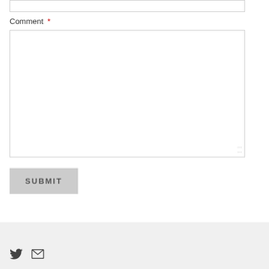[Figure (screenshot): A web form showing a Comment field with a required asterisk marker, a large textarea input box, and a grey SUBMIT button below. At the bottom is a grey footer area with Twitter bird icon and mail/envelope icon.]